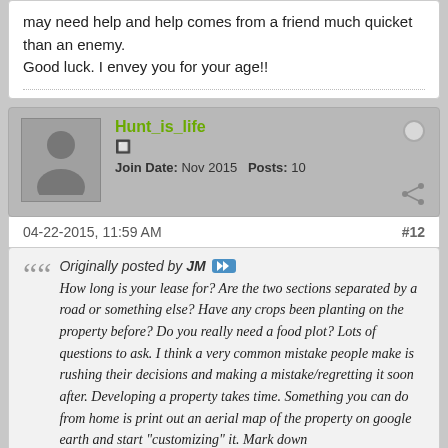may need help and help comes from a friend much quicket than an enemy.
Good luck. I envey you for your age!!
Hunt_is_life
Join Date: Nov 2015   Posts: 10
04-22-2015, 11:59 AM    #12
Originally posted by JM
How long is your lease for? Are the two sections separated by a road or something else? Have any crops been planting on the property before? Do you really need a food plot? Lots of questions to ask. I think a very common mistake people make is rushing their decisions and making a mistake/regretting it soon after. Developing a property takes time. Something you can do from home is print out an aerial map of the property on google earth and start "customizing" it. Mark down